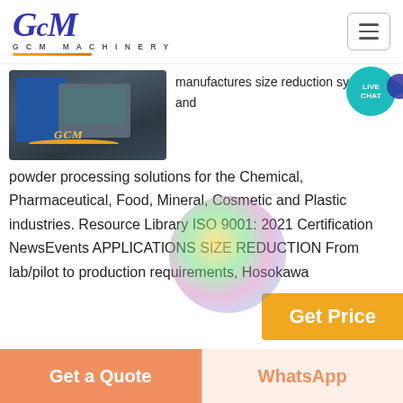GCM MACHINERY
[Figure (photo): Industrial GCM machinery equipment photo]
manufactures size reduction systems and powder processing solutions for the Chemical, Pharmaceutical, Food, Mineral, Cosmetic and Plastic industries. Resource Library ISO 9001: 2021 Certification NewsEvents APPLICATIONS SIZE REDUCTION From lab/pilot to production requirements, Hosokawa
Get Price
[Figure (photo): Mill grinding machinery in factory — large orange/red grinding wheels]
Mill,Grinding
Shanghai Clirik Machinery
Get a Quote
WhatsApp